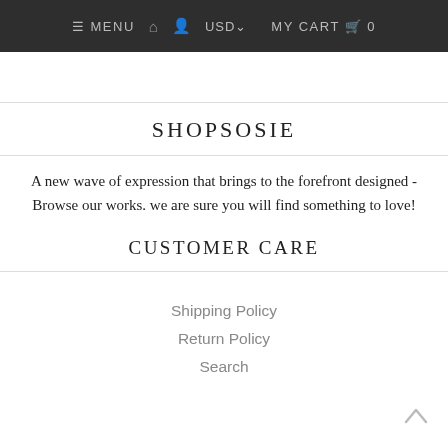≡ MENU  🏠  👤  USD∨  MY CART  🛒  0
SHOPSOSIE
A new wave of expression that brings to the forefront designed - Browse our works. we are sure you will find something to love!
CUSTOMER CARE
Shipping Policy
Return Policy
Search